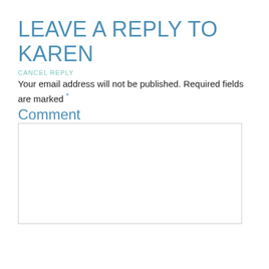LEAVE A REPLY TO KAREN
CANCEL REPLY
Your email address will not be published. Required fields are marked *
Comment
[Figure (other): Empty comment text area input box with light gray border]